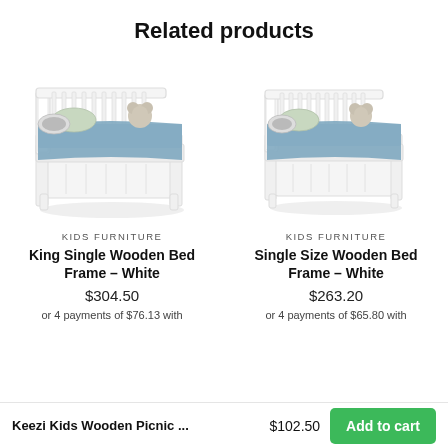Related products
[Figure (photo): King Single Wooden Bed Frame in white, shown with blue bedding and pillows, angled product shot on white background]
KIDS FURNITURE
King Single Wooden Bed Frame – White
$304.50
or 4 payments of $76.13 with
[Figure (photo): Single Size Wooden Bed Frame in white, shown with blue bedding and pillows, angled product shot on white background]
KIDS FURNITURE
Single Size Wooden Bed Frame – White
$263.20
or 4 payments of $65.80 with
Keezi Kids Wooden Picnic ...
$102.50
Add to cart